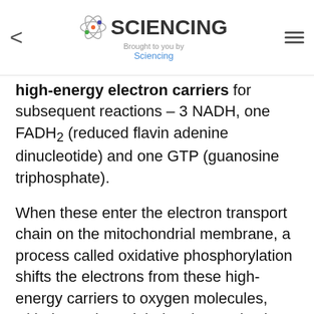SCIENCING — Brought to you by Sciencing
high-energy electron carriers for subsequent reactions – 3 NADH, one FADH₂ (reduced flavin adenine dinucleotide) and one GTP (guanosine triphosphate).
When these enter the electron transport chain on the mitochondrial membrane, a process called oxidative phosphorylation shifts the electrons from these high-energy carriers to oxygen molecules, with the end result being the production of 36 (or possibly 38) ATP molecules per glucose molecule "upstream."
The far greater efficiency and yield of aerobic metabolism explains essentially all of the basic